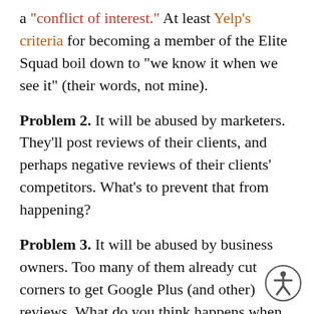a “conflict of interest.”  At least Yelp’s criteria for becoming a member of the Elite Squad boil down to “we know it when we see it” (their words, not mine).
Problem 2.  It will be abused by marketers. They’ll post reviews of their clients, and perhaps negative reviews of their clients’ competitors.  What’s to prevent that from happening?
Problem 3.  It will be abused by business owners.  Too many of them already cut corners to get Google Plus (and other) reviews.  What do you think happens when Google raises the stakes?
[Figure (illustration): Accessibility icon: a circle with a stylized person figure inside, representing accessibility features.]